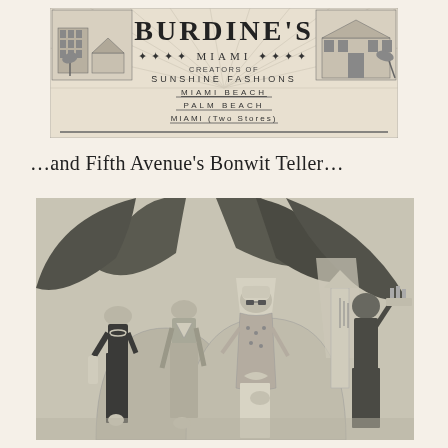[Figure (illustration): Burdine's Miami department store advertisement header with store building illustrations on left and right, featuring text: BURDINE'S, MIAMI, CREATORS OF SUNSHINE FASHIONS, MIAMI BEACH, PALM BEACH, MIAMI (Two Stores). Decorative sun ray lines in background.]
…and Fifth Avenue's Bonwit Teller…
[Figure (illustration): Vintage 1930s fashion illustration showing elegantly dressed women in resort/beach attire standing before a tropical backdrop with large palm leaves and geometric architectural elements. A waiter figure appears on the right holding a tray.]